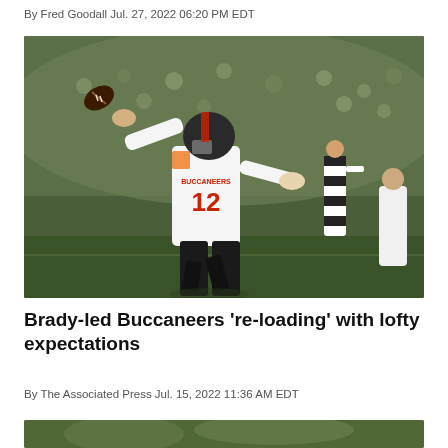By Fred Goodall Jul. 27, 2022 06:20 PM EDT
[Figure (photo): Tampa Bay Buccaneers quarterback wearing jersey number 12, in white uniform with red lettering, throwing a football in a game setting with a referee and crowd in background.]
Brady-led Buccaneers 're-loading' with lofty expectations
By The Associated Press Jul. 15, 2022 11:36 AM EDT
[Figure (photo): Partial view of next article image strip at bottom of page.]